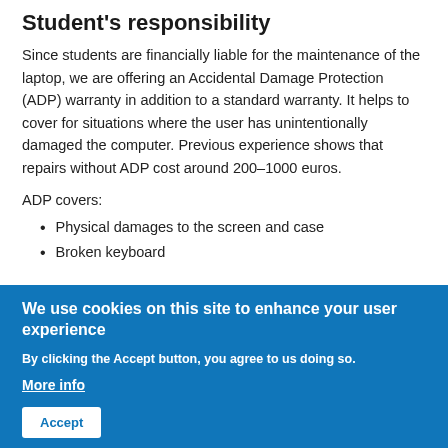Student's responsibility
Since students are financially liable for the maintenance of the laptop, we are offering an Accidental Damage Protection (ADP) warranty in addition to a standard warranty. It helps to cover for situations where the user has unintentionally damaged the computer. Previous experience shows that repairs without ADP cost around 200–1000 euros.
ADP covers:
Physical damages to the screen and case
Broken keyboard
We use cookies on this site to enhance your user experience
By clicking the Accept button, you agree to us doing so.
More info